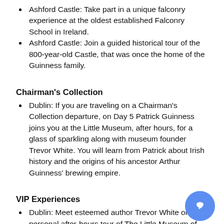Ashford Castle: Take part in a unique falconry experience at the oldest established Falconry School in Ireland.
Ashford Castle: Join a guided historical tour of the 800-year-old Castle, that was once the home of the Guinness family.
Chairman's Collection
Dublin: If you are traveling on a Chairman's Collection departure, on Day 5 Patrick Guinness joins you at the Little Museum, after hours, for a glass of sparkling along with museum founder Trevor White. You will learn from Patrick about Irish history and the origins of his ancestor Arthur Guinness' brewing empire.
VIP Experiences
Dublin: Meet esteemed author Trevor White on a personal after-hours tour of The Little Museum of Dublin, which he founded. You'll learn about his work